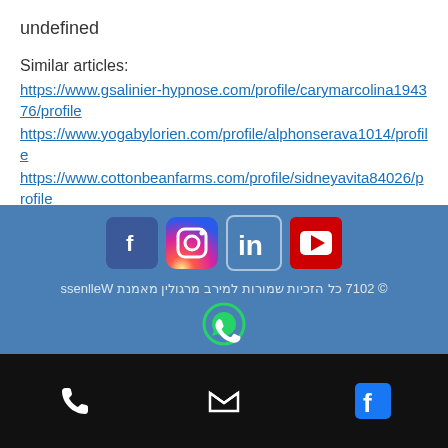undefined
Similar articles:
https://www.gsalinier-hypnose.com/profile/carymarcolina194376/profile
https://www.yogabylorien.com/profile/alphonserava1014/profile
https://www.cottonbeanfarms.com/profile/sidneyavita84026/profile
https://www.biohack4me.com/profile/lelandbole142803/profile
[Figure (other): Social media footer with Facebook, Instagram, LinkedIn, YouTube icons, copyright text in Hebrew, WhatsApp icon, and black bottom bar with phone, email, and Facebook icons]